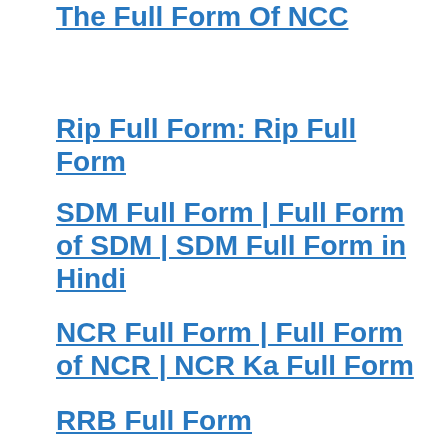The Full Form Of NCC
Rip Full Form: Rip Full Form
SDM Full Form | Full Form of SDM | SDM Full Form in Hindi
NCR Full Form | Full Form of NCR | NCR Ka Full Form
LPG Full Form | LPG का फुल फॉर्म
RRB Full Form